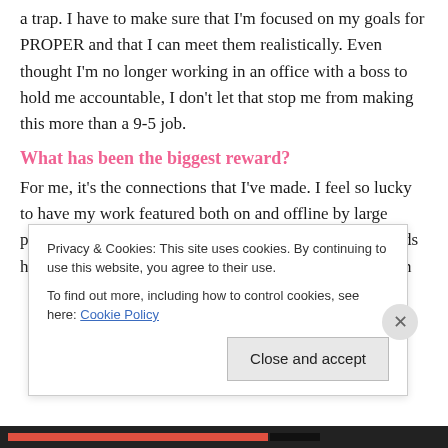a trap. I have to make sure that I'm focused on my goals for PROPER and that I can meet them realistically. Even thought I'm no longer working in an office with a boss to hold me accountable, I don't let that stop me from making this more than a 9-5 job.
What has been the biggest reward?
For me, it's the connections that I've made. I feel so lucky to have my work featured both on and offline by large publications I've always admired. Some of my best friends have come from this job. While we only see each other in
Privacy & Cookies: This site uses cookies. By continuing to use this website, you agree to their use.
To find out more, including how to control cookies, see here: Cookie Policy